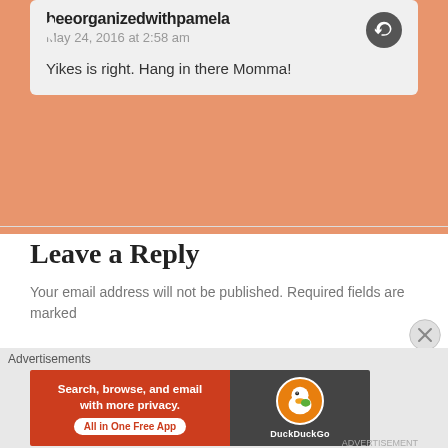beeorganizedwithpamela
May 24, 2016 at 2:58 am
Yikes is right. Hang in there Momma!
Leave a Reply
Your email address will not be published. Required fields are marked
[Figure (screenshot): Empty text input area for reply form]
Advertisements
[Figure (screenshot): DuckDuckGo advertisement banner: Search, browse, and email with more privacy. All in One Free App]